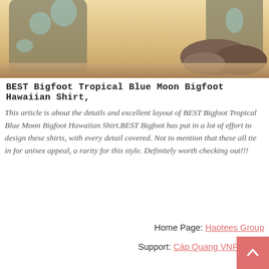[Figure (photo): Photo of two Hawaiian shirts with tropical Bigfoot blue moon design displayed on a sandy beach background. Shirts are dark navy/black with blue tropical palm and moon motifs. One shirt is larger on the left, another on the upper right.]
BEST Bigfoot Tropical Blue Moon Bigfoot Hawaiian Shirt,
This article is about the details and excellent layout of BEST Bigfoot Tropical Blue Moon Bigfoot Hawaiian Shirt.BEST Bigfoot has put in a lot of effort to design these shirts, with every detail covered. Not to mention that these all tie in for unisex appeal, a rarity for this style. Definitely worth checking out!!!
Home Page: Haotees Group
Support: Cáp Quang VNPT Hà...